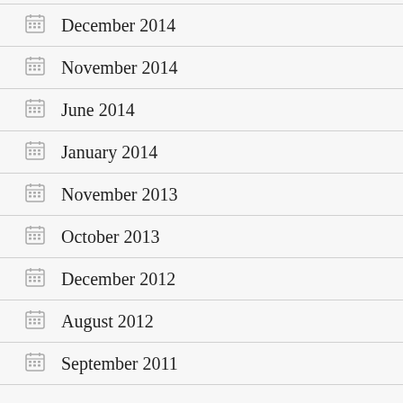December 2014
November 2014
June 2014
January 2014
November 2013
October 2013
December 2012
August 2012
September 2011